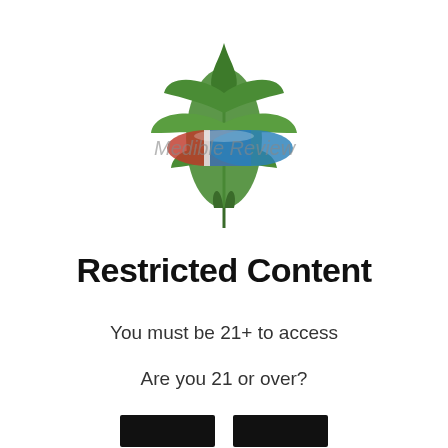[Figure (logo): Medible Review logo: a cannabis leaf overlaid with a red-and-blue pill capsule, with watermark text 'Medible Review']
Restricted Content
You must be 21+ to access
Are you 21 or over?
[Figure (other): Two black rectangular buttons side by side (yes/no age verification buttons)]